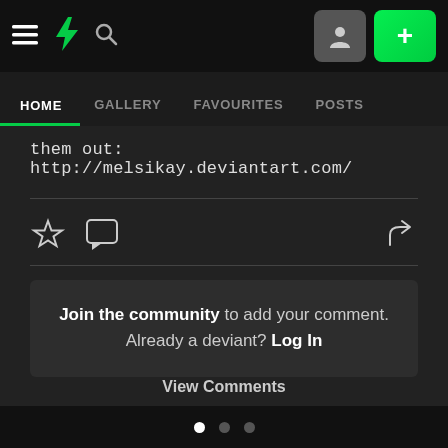DeviantArt navigation bar with hamburger menu, DA logo, search icon, user avatar button, and add (+) button
HOME | GALLERY | FAVOURITES | POSTS
them out: http://melsikay.deviantart.com/
[Figure (other): Action icons row: star (favourite), comment bubble, and share arrow icons]
Join the community to add your comment. Already a deviant? Log In
View Comments
Pagination dots: 3 dots, first one active (white)